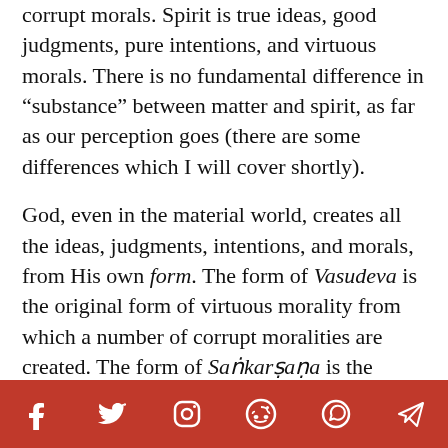corrupt morals. Spirit is true ideas, good judgments, pure intentions, and virtuous morals. There is no fundamental difference in “substance” between matter and spirit, as far as our perception goes (there are some differences which I will cover shortly).
God, even in the material world, creates all the ideas, judgments, intentions, and morals, from His own form. The form of Vasudeva is the original form of virtuous morality from which a number of corrupt moralities are created. The form of Saṅkarṣaṇa is the original form of pure intention from which a number of evil intentions are created. The form of Pradyumna
[Figure (infographic): Social media share bar with icons for Facebook, Twitter, Instagram, Reddit, WhatsApp, and Telegram on a red background]